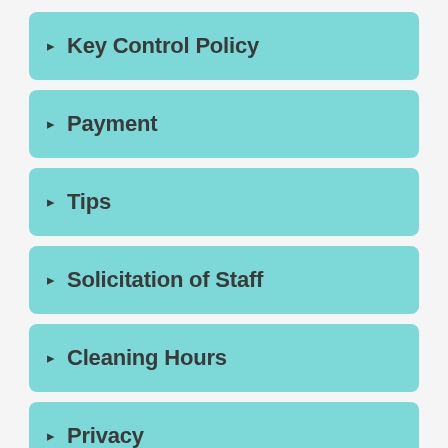Key Control Policy
Payment
Tips
Solicitation of Staff
Cleaning Hours
Privacy
(partially visible)